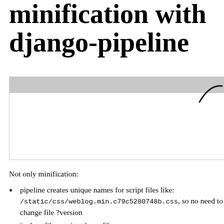minification with django-pipeline
[Figure (screenshot): Screenshot of a web browser or code editor showing a webpage with a grey header bar and a curved line element visible in the top-right corner.]
Not only minification:
pipeline creates unique names for script files like: /static/css/weblog.min.c79c5280748b.css, so no need to change file ?version
it glues files, so it reduces files count
it makes templates simpler because of inclusions moved to settings file
it automatically creates bundles for static mobile and...